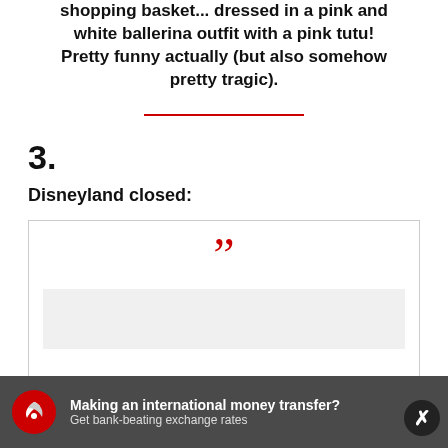shopping basket... dressed in a pink and white ballerina outfit with a pink tutu! Pretty funny actually (but also somehow pretty tragic).
3.
Disneyland closed:
[Figure (other): Quote block with large red closing quotation marks and a grey inner box below]
[Figure (other): Advertisement bar: Making an international money transfer? Get bank-beating exchange rates, with red eagle logo and close button]